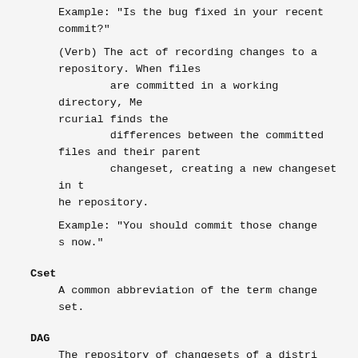Example: "Is the bug fixed in your recent commit?"
(Verb) The act of recording changes to a repository. When files are committed in a working directory, Mercurial finds the differences between the committed files and their parent changeset, creating a new changeset in the repository.
Example: "You should commit those changes now."
Cset
A common abbreviation of the term changeset.
DAG
The repository of changesets of a distributed version control system (DVCS) can be described as a directed acyclic graph (DAG), consisting of nodes and edges, where nod